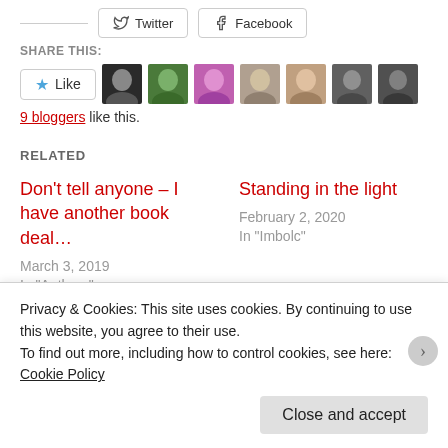Twitter | Facebook (share buttons)
Share this:
[Figure (other): Like button with blue star and 9 blogger avatar thumbnails]
9 bloggers like this.
Related
Don't tell anyone – I have another book deal…
March 3, 2019
In "Authors"
Standing in the light
February 2, 2020
In "Imbolc"
Learning curves…
Privacy & Cookies: This site uses cookies. By continuing to use this website, you agree to their use.
To find out more, including how to control cookies, see here: Cookie Policy
Close and accept